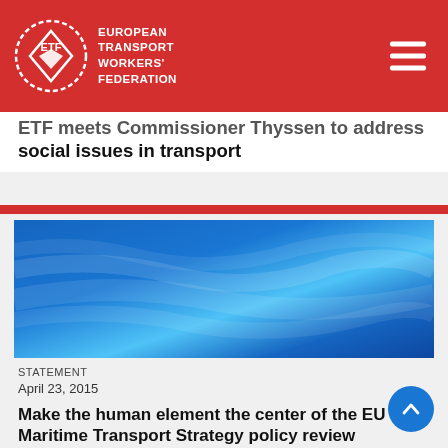European Transport Workers' Federation
ETF meets Commissioner Thyssen to address social issues in transport
[Figure (photo): Blue textured background image, likely ocean or fabric surface in shades of blue]
STATEMENT
April 23, 2015
Make the human element the center of the EU Maritime Transport Strategy policy review